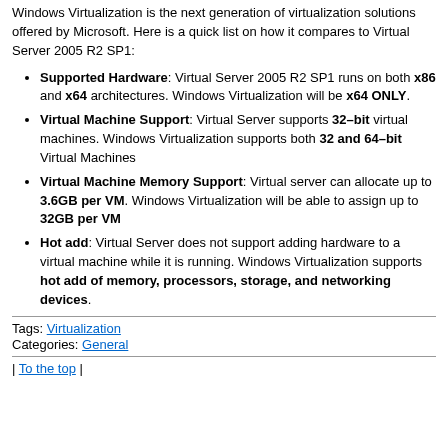Windows Virtualization is the next generation of virtualization solutions offered by Microsoft. Here is a quick list on how it compares to Virtual Server 2005 R2 SP1:
Supported Hardware: Virtual Server 2005 R2 SP1 runs on both x86 and x64 architectures. Windows Virtualization will be x64 ONLY.
Virtual Machine Support: Virtual Server supports 32–bit virtual machines. Windows Virtualization supports both 32 and 64–bit Virtual Machines
Virtual Machine Memory Support: Virtual server can allocate up to 3.6GB per VM. Windows Virtualization will be able to assign up to 32GB per VM
Hot add: Virtual Server does not support adding hardware to a virtual machine while it is running. Windows Virtualization supports hot add of memory, processors, storage, and networking devices.
Tags: Virtualization
Categories: General
| To the top |